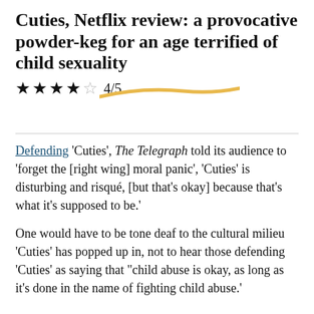Cuties, Netflix review: a provocative powder-keg for an age terrified of child sexuality
★★★★☆ 4/5
Defending 'Cuties', The Telegraph told its audience to 'forget the [right wing] moral panic', 'Cuties' is disturbing and risqué, [but that's okay] because that's what it's supposed to be.'
One would have to be tone deaf to the cultural milieu 'Cuties' has popped up in, not to hear those defending 'Cuties' as saying that "child abuse is okay, as long as it's done in the name of fighting child abuse.'